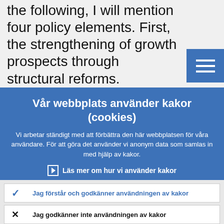the following, I will mention four policy elements. First, the strengthening of growth prospects through structural reforms.
Vår webbplats använder kakor (cookies)
Vi arbetar ständigt med att förbättra den här webbplatsen för våra användare. För att göra det använder vi anonym data som samlas in med hjälp av kakor.
Läs mer om hur vi använder kakor
Jag förstår och godkänner användningen av kakor
Jag godkänner inte användningen av kakor